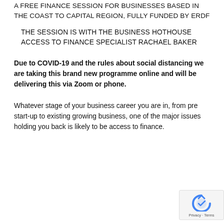A FREE FINANCE SESSION FOR BUSINESSES BASED IN THE COAST TO CAPITAL REGION, FULLY FUNDED BY ERDF
THE SESSION IS WITH THE BUSINESS HOTHOUSE ACCESS TO FINANCE SPECIALIST RACHAEL BAKER
Due to COVID-19 and the rules about social distancing we are taking this brand new programme online and will be delivering this via Zoom or phone.
Whatever stage of your business career you are in, from pre start-up to existing growing business, one of the major issues holding you back is likely to be access to finance.